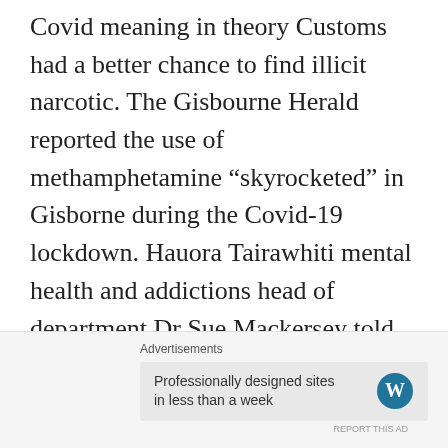Covid meaning in theory Customs had a better chance to find illicit narcotic. The Gisbourne Herald reported the use of methamphetamine “skyrocketed” in Gisborne during the Covid-19 lockdown. Hauora Tairawhiti mental health and addictions head of department Dr Sue Mackersey told the Institute of Environmental Science and Research (ESR) evidence of meth levels found in Gisborne’s untreated sewage supported their view meth consumption escalated drastically during lockdown.
Advertisements
Professionally designed sites in less than a week